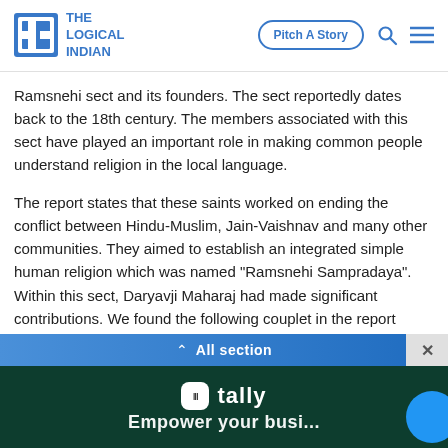THE LOGICAL INDIAN — Pitch A Story
Ramsnehi sect and its founders. The sect reportedly dates back to the 18th century. The members associated with this sect have played an important role in making common people understand religion in the local language.
The report states that these saints worked on ending the conflict between Hindu-Muslim, Jain-Vaishnav and many other communities. They aimed to establish an integrated simple human religion which was named "Ramsnehi Sampradaya". Within this sect, Daryavji Maharaj had made significant contributions. We found the following couplet in the report which is connected to the statement made by CM Gehlot during his speech.
All section